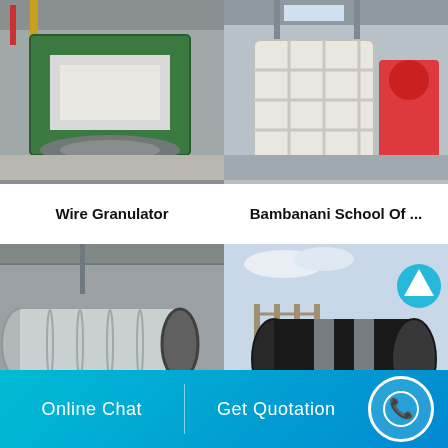[Figure (photo): Industrial CNC vertical turning lathe machine in a factory]
Wire Granulator
[Figure (photo): White jaw crusher industrial machine in a factory workshop]
Bambanani School Of ...
[Figure (photo): Large rotary drum dryer industrial machine in a factory]
[Figure (photo): Large industrial cylinder/rotary kiln on a construction site with teal up-arrow icon]
Online Chat
Get Quotation